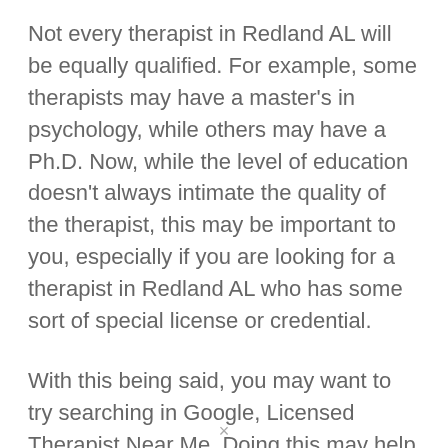Not every therapist in Redland AL will be equally qualified. For example, some therapists may have a master's in psychology, while others may have a Ph.D. Now, while the level of education doesn't always intimate the quality of the therapist, this may be important to you, especially if you are looking for a therapist in Redland AL who has some sort of special license or credential.
With this being said, you may want to try searching in Google, Licensed Therapist Near Me. Doing this may help you to see which therapists in Redland AL are indeed licensed to practice.
×